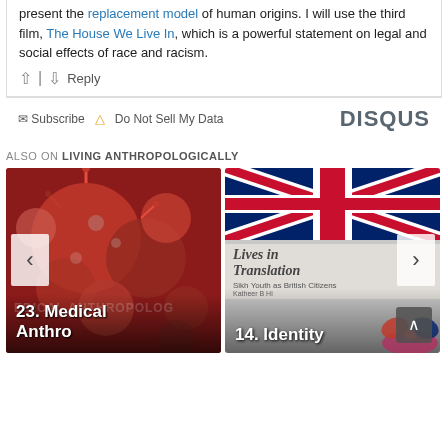present the replacement model of human origins. I will use the third film, The House We Live In, which is a powerful statement on legal and social effects of race and racism.
↑ | ↓ Reply
✉ Subscribe ⚠ Do Not Sell My Data   DISQUS
ALSO ON LIVING ANTHROPOLOGICALLY
[Figure (screenshot): Two content cards side by side. Left card shows a red/microscopic virus image with text '23. Medical Anthro' and watermark 'MEDICAL ANTHROPOLOG'. Right card shows a book cover 'Lives in Translation: Sikh Youth as British Citizens' with UK flag, and text '14. Identity'. Navigation arrows on left and right sides.]